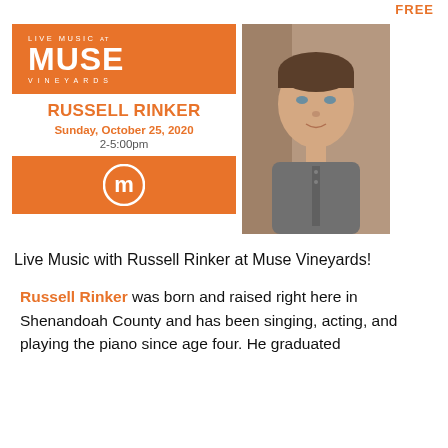FREE
[Figure (illustration): Event flyer for Live Music at Muse Vineyards featuring Russell Rinker, Sunday October 25 2020, 2-5:00pm, with orange banner, Muse logo, and headshot photo of performer]
Live Music with Russell Rinker at Muse Vineyards!
Russell Rinker was born and raised right here in Shenandoah County and has been singing, acting, and playing the piano since age four. He graduated